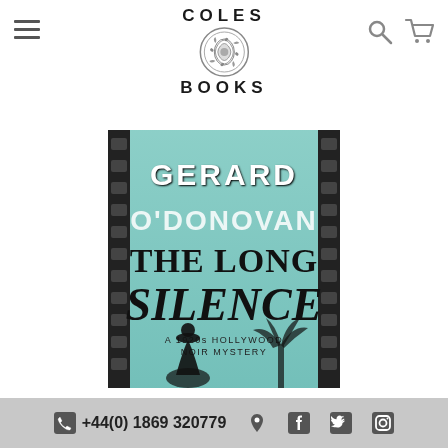COLES BOOKS
[Figure (photo): Book cover of 'The Long Silence' by Gerard O'Donovan — A 1920s Hollywood Noir Mystery, shown against a film strip background. Teal/mint colored cover with bold black and white lettering.]
+44(0) 1869 320779